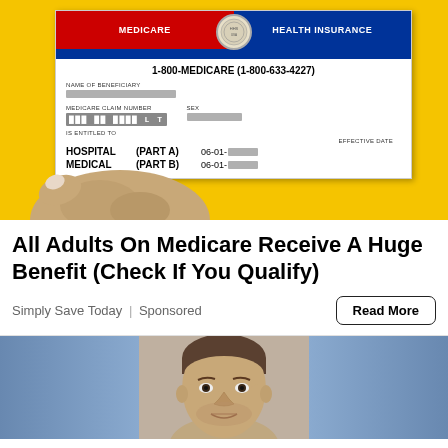[Figure (photo): A hand holding a Medicare Health Insurance card in front of a yellow background. The card shows: MEDICARE | HEALTH INSURANCE, 1-800-MEDICARE (1-800-633-4227), NAME OF BENEFICIARY (blurred), MEDICARE CLAIM NUMBER (blurred), SEX (blurred), IS ENTITLED TO: HOSPITAL (PART A) 06-01-[blurred], MEDICAL (PART B) 06-01-[blurred], EFFECTIVE DATE.]
All Adults On Medicare Receive A Huge Benefit (Check If You Qualify)
Simply Save Today | Sponsored
[Figure (photo): A mugshot-style photo of a man against a blue background.]